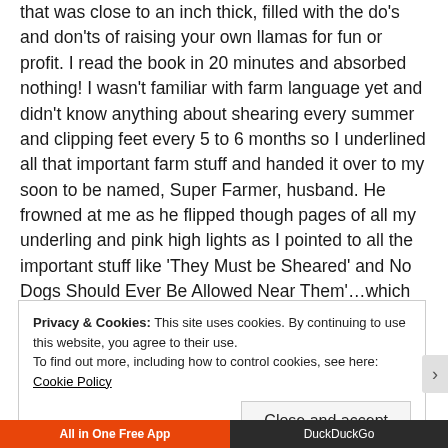that was close to an inch thick, filled with the do's and don'ts of raising your own llamas for fun or profit. I read the book in 20 minutes and absorbed nothing! I wasn't familiar with farm language yet and didn't know anything about shearing every summer and clipping feet every 5 to 6 months so I underlined all that important farm stuff and handed it over to my soon to be named, Super Farmer, husband. He frowned at me as he flipped though pages of all my underling and pink high lights as I pointed to all the important stuff like 'They Must be Sheared' and No Dogs Should Ever Be Allowed Near Them'…which worried me since we have a small pack of hounds.
Privacy & Cookies: This site uses cookies. By continuing to use this website, you agree to their use. To find out more, including how to control cookies, see here: Cookie Policy
Close and accept
All in One Free App   DuckDuckGo